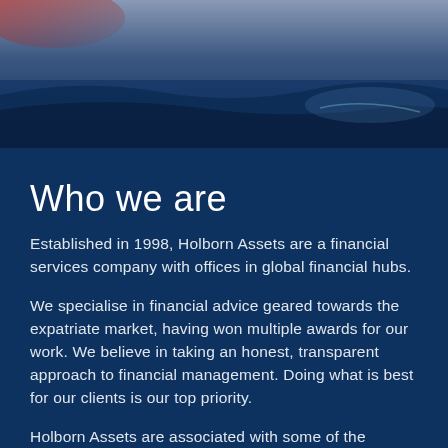[Figure (photo): Dark blue background with abstract water or night-sky imagery at the top, featuring reddish highlights on the left and a faint curved light streak on the right.]
Who we are
Established in 1998, Holborn Assets are a financial services company with offices in global financial hubs.
We specialise in financial advice geared towards the expatriate market, having won multiple awards for our work. We believe in taking an honest, transparent approach to financial management. Doing what is best for our clients is our top priority.
Holborn Assets are associated with some of the market-leading investment and money management firms. Because of this, our clients can be sure they